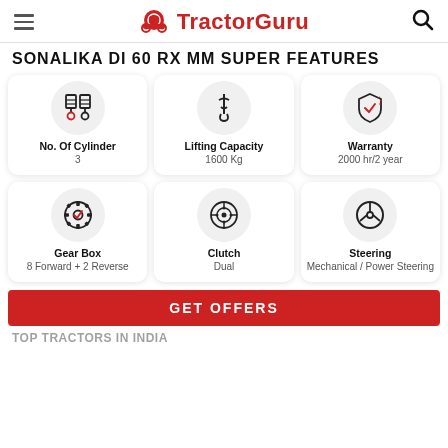TractorGuru
SONALIKA DI 60 RX MM SUPER FEATURES
[Figure (infographic): Six feature cards in a 3x2 grid showing: No. Of Cylinder (3), Lifting Capacity (1600 Kg), Warranty (2000 hr/2 year), Gear Box (8 Forward + 2 Reverse), Clutch (Dual), Steering (Mechanical / Power Steering), each with a circular icon above.]
GET OFFERS
TOP TRACTORS IN INDIA